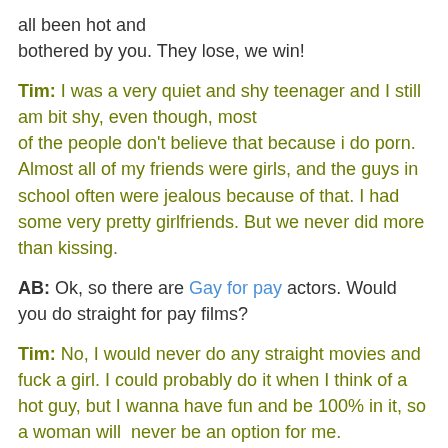all been hot and bothered by you. They lose, we win!
Tim: I was a very quiet and shy teenager and I still am bit shy, even though, most of the people don't believe that because i do porn. Almost all of my friends were girls, and the guys in school often were jealous because of that. I had some very pretty girlfriends. But we never did more than kissing.
AB: Ok, so there are Gay for pay actors. Would you do straight for pay films?
Tim: No, I would never do any straight movies and fuck a girl. I could probably do it when I think of a hot guy, but I wanna have fun and be 100% in it, so a woman will never be an option for me.